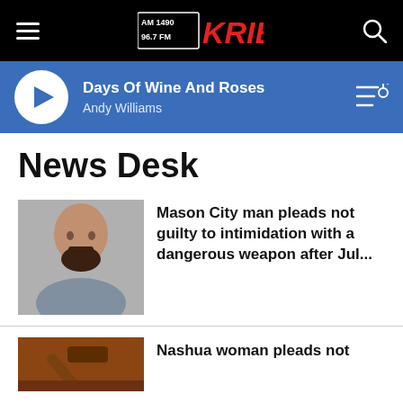AM 1490 96.7 FM KRIB
Days Of Wine And Roses
Andy Williams
News Desk
[Figure (photo): Mugshot of a bald bearded man]
Mason City man pleads not guilty to intimidation with a dangerous weapon after Jul...
[Figure (photo): Photo of a wooden judge's gavel]
Nashua woman pleads not